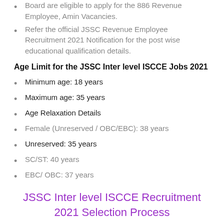Board are eligible to apply for the 886 Revenue Employee, Amin Vacancies.
Refer the official JSSC Revenue Employee Recruitment 2021 Notification for the post wise educational qualification details.
Age Limit for the JSSC Inter level ISCCE Jobs 2021
Minimum age: 18 years
Maximum age: 35 years
Age Relaxation Details
Female (Unreserved / OBC/EBC): 38 years
Unreserved: 35 years
SC/ST: 40 years
EBC/ OBC: 37 years
JSSC Inter level ISCCE Recruitment 2021 Selection Process